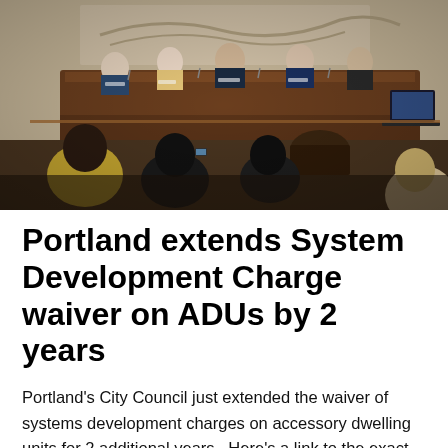[Figure (photo): A city council chamber meeting in session. Several council members sit behind a large wooden dais at the front. Audience members are visible from behind in the foreground, including people with cameras. A laptop is open on the right side of the dais.]
Portland extends System Development Charge waiver on ADUs by 2 years
Portland's City Council just extended the waiver of systems development charges on accessory dwelling units for 2 additional years.  Here's a link to the exact language of the ordinance.  After some councillors expressed concern about the length of the extension (originally